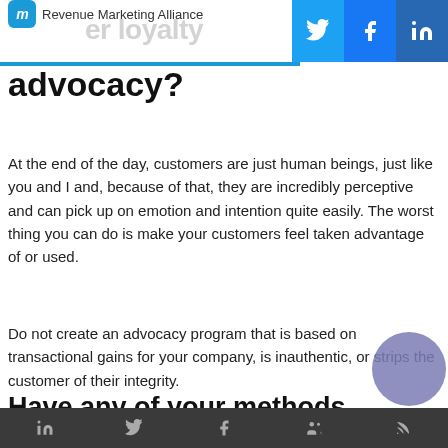Revenue Marketing Alliance
advocacy?
At the end of the day, customers are just human beings, just like you and I and, because of that, they are incredibly perceptive and can pick up on emotion and intention quite easily. The worst thing you can do is make your customers feel taken advantage of or used.
Do not create an advocacy program that is based on transactional gains for your company, is inauthentic, or strips the customer of their integrity.
Have any of your methods had to